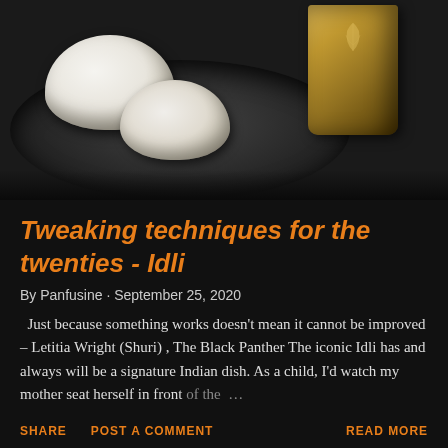[Figure (photo): Photo of idli (South Indian steamed rice cakes) on a dark plate with a brass/golden cup in the background]
Tweaking techniques for the twenties - Idli
By Panfusine · September 25, 2020
Just because something works doesn't mean it cannot be improved  – Letitia Wright (Shuri) , The Black Panther The iconic Idli has and always will be a signature Indian dish. As a child, I'd watch my mother seat herself in front of the …
SHARE   POST A COMMENT   READ MORE